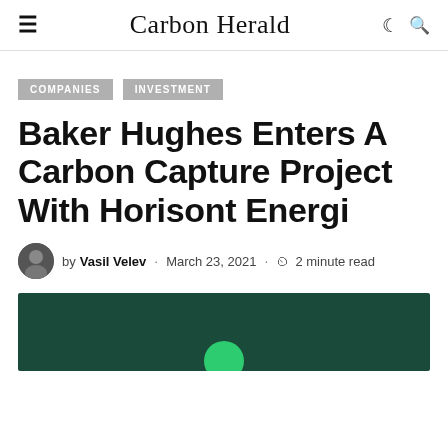Carbon Herald
COMPANIES
INVESTMENT
Baker Hughes Enters A Carbon Capture Project With Horisont Energi
by Vasil Velev · March 23, 2021 · 2 minute read
[Figure (photo): Dark green background image with a green circle element at the bottom center]